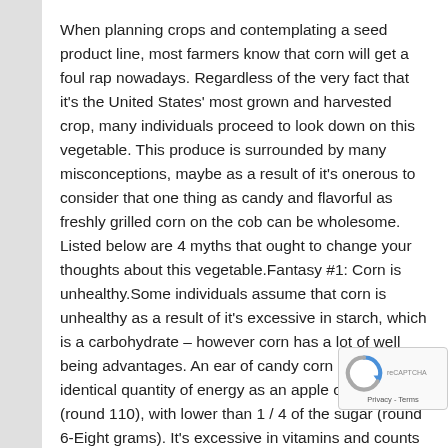When planning crops and contemplating a seed product line, most farmers know that corn will get a foul rap nowadays. Regardless of the very fact that it's the United States' most grown and harvested crop, many individuals proceed to look down on this vegetable. This produce is surrounded by many misconceptions, maybe as a result of it's onerous to consider that one thing as candy and flavorful as freshly grilled corn on the cob can be wholesome. Listed below are 4 myths that ought to change your thoughts about this vegetable.Fantasy #1: Corn is unhealthy.Some individuals assume that corn is unhealthy as a result of it's excessive in starch, which is a carbohydrate – however corn has a lot of well being advantages. An ear of candy corn has the identical quantity of energy as an apple or banana (round 110), with lower than 1 / 4 of the sugar (round 6-Eight grams). It's excessive in vitamins and counts in the direction of your beneficial each day servings of greens. Nevertheless, do not go